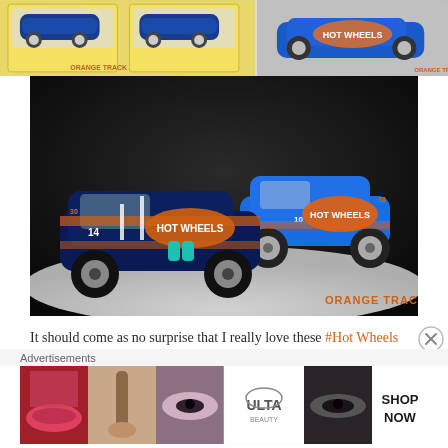[Figure (photo): Two small Hot Wheels Race Team car packages/cards shown in a top strip, left side shows packaging with cars on blister cards, right side shows a blue Hot Wheels car on grey background]
[Figure (photo): Large product photo of two Hot Wheels Race Team die-cast cars on white/grey background: one dark navy/orange race car (foreground, #14) and one blue/orange Hot Wheels car (background, #10), with Orange Track Diecast watermark]
It should come as no surprise that I really love these #Hot Wheels Race Team super/common #Variations. Especially this year with the #Spectraflame blue contrasting the matte blue so well. No word yet on if the #Logo Slot Wheels (that came standard on all the
Advertisements
[Figure (photo): ULTA Beauty advertisement banner showing makeup products and faces with text SHOP NOW]